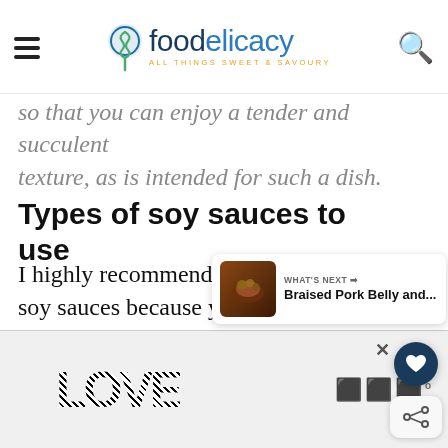foodelicacy – ALL THINGS SWEET & SAVOURY
so that you can enjoy a tender and succulent texture, as is intended for such a dish.
Types of soy sauces to use
I highly recommend using good quality soy sauces because you'll be rewarded with the most amazing flavours!
[Figure (screenshot): Floating heart favourite button (dark navy circle with white heart icon)]
[Figure (screenshot): Floating share button (white rounded rectangle with share icon)]
[Figure (screenshot): What's Next panel: thumbnail of braised pork belly dish, label WHAT'S NEXT with arrow, title 'Braised Pork Belly and...']
[Figure (screenshot): Advertisement banner at bottom with decorative LOVE text logo and brand logo on the right, close X button]